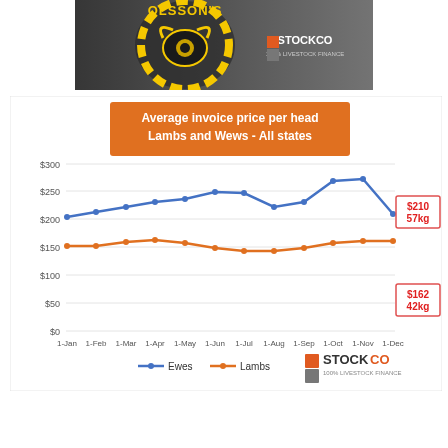[Figure (photo): Olsson's branded header image with logo and cattle in background]
[Figure (line-chart): Average invoice price per head Lambs and Wews - All states]